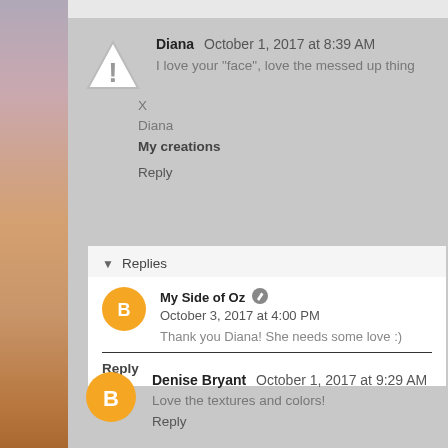Diana  October 1, 2017 at 8:39 AM
I love your "face", love the messed up thing

X
Diana
My creations

Reply
Replies
My Side of Oz  October 3, 2017 at 4:00 PM
Thank you Diana! She needs some love :)
Reply
Denise Bryant  October 1, 2017 at 9:29 AM
Love the textures and colors!

Reply